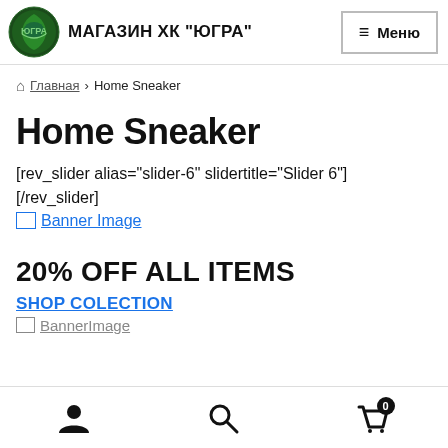МАГАЗИН ХК "ЮГРА"
Главная › Home Sneaker
Home Sneaker
[rev_slider alias="slider-6" slidertitle="Slider 6"] [/rev_slider]
Banner Image
20% OFF ALL ITEMS
SHOP COLECTION
BannerImage